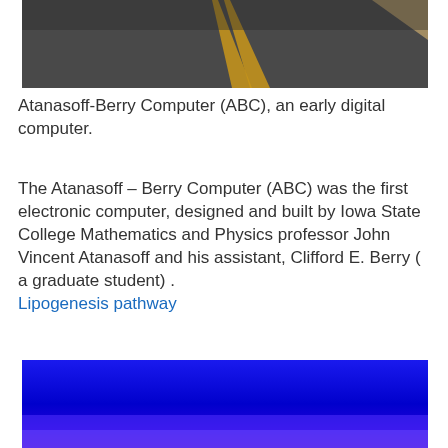[Figure (photo): A road with yellow center line markings viewed from a low angle, shot in grainy dark tones.]
Atanasoff-Berry Computer (ABC), an early digital computer.
The Atanasoff – Berry Computer (ABC) was the first electronic computer, designed and built by Iowa State College Mathematics and Physics professor John Vincent Atanasoff and his assistant, Clifford E. Berry ( a graduate student) .
Lipogenesis pathway
[Figure (photo): A bright blue gradient image, likely a photograph with vivid blue tones.]